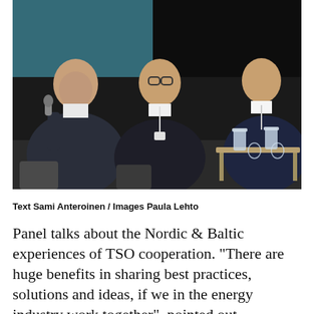[Figure (photo): Three men in dark suits seated on a conference panel stage. The leftmost man is holding a microphone and speaking. The middle man wears glasses and sits with hands clasped. The rightmost man is partially visible on the right edge. Water pitchers and glasses are visible on a low table in front.]
Text Sami Anteroinen / Images Paula Lehto
Panel talks about the Nordic & Baltic experiences of TSO cooperation. "There are huge benefits in sharing best practices, solutions and ideas, if we in the energy industry work together", pointed out Energinett's CEO Thomas Egebo.